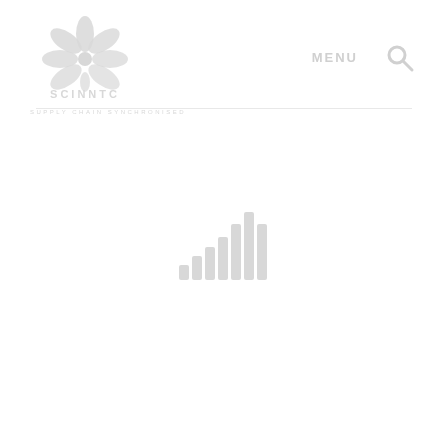[Figure (logo): SCINNTC logo with flower/leaf emblem above text SCINNTC and tagline SUPPLY CHAIN SYNCHRONISED]
MENU
[Figure (other): Search icon (magnifying glass) in light grey]
[Figure (bar-chart): Loading indicator or signal bars icon in light grey in center of page]